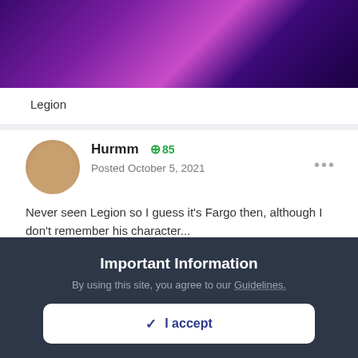[Figure (photo): Purple and pink abstract banner image with gradient lighting]
Legion
Hurmm +85
Posted October 5, 2021
Never seen Legion so I guess it's Fargo then, although I don't remember his character...
Important Information
By using this site, you agree to our Guidelines.
✓ I accept